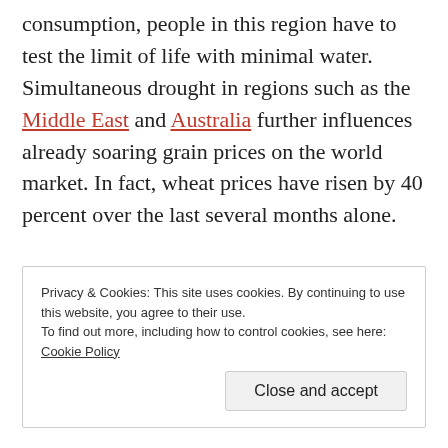consumption, people in this region have to test the limit of life with minimal water. Simultaneous drought in regions such as the Middle East and Australia further influences already soaring grain prices on the world market. In fact, wheat prices have risen by 40 percent over the last several months alone.
Privacy & Cookies: This site uses cookies. By continuing to use this website, you agree to their use. To find out more, including how to control cookies, see here: Cookie Policy